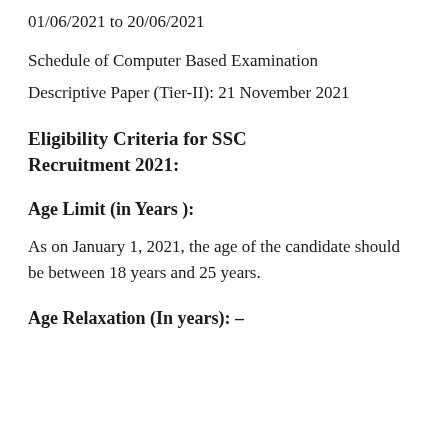01/06/2021 to 20/06/2021
Schedule of Computer Based Examination
Descriptive Paper (Tier-II): 21 November 2021
Eligibility Criteria for SSC Recruitment 2021:
Age Limit (in Years ):
As on January 1, 2021, the age of the candidate should be between 18 years and 25 years.
Age Relaxation (In years): –